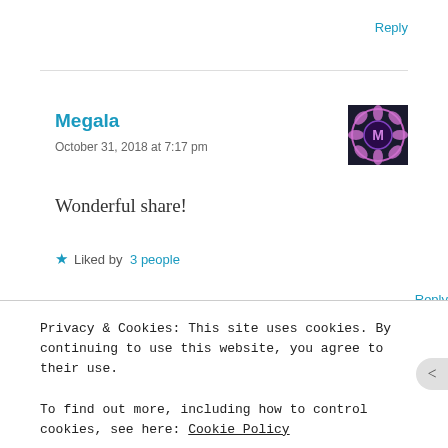Reply
Megala
October 31, 2018 at 7:17 pm
Wonderful share!
★ Liked by 3 people
Reply
Privacy & Cookies: This site uses cookies. By continuing to use this website, you agree to their use.
To find out more, including how to control cookies, see here: Cookie Policy
Close and accept